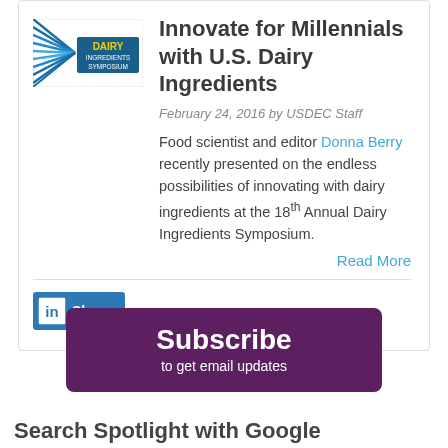Innovate for Millennials with U.S. Dairy Ingredients
February 24, 2016 by USDEC Staff
Food scientist and editor Donna Berry recently presented on the endless possibilities of innovating with dairy ingredients at the 18th Annual Dairy Ingredients Symposium.
Read More
[Figure (logo): Dairy Ingredients Symposium logo with blue rays and yellow text]
Share (LinkedIn button)
Subscribe to get email updates
Search Spotlight with Google